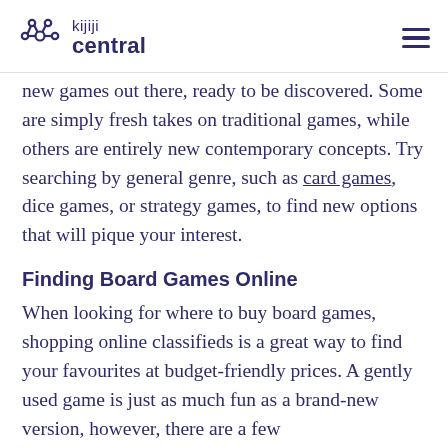kijiji central
new games out there, ready to be discovered. Some are simply fresh takes on traditional games, while others are entirely new contemporary concepts. Try searching by general genre, such as card games, dice games, or strategy games, to find new options that will pique your interest.
Finding Board Games Online
When looking for where to buy board games, shopping online classifieds is a great way to find your favourites at budget-friendly prices. A gently used game is just as much fun as a brand-new version, however, there are a few